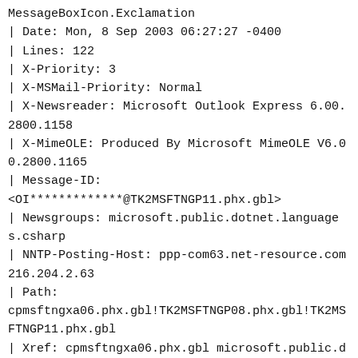MessageBoxIcon.Exclamation
| Date: Mon, 8 Sep 2003 06:27:27 -0400
| Lines: 122
| X-Priority: 3
| X-MSMail-Priority: Normal
| X-Newsreader: Microsoft Outlook Express 6.00.2800.1158
| X-MimeOLE: Produced By Microsoft MimeOLE V6.00.2800.1165
| Message-ID:
<OI*************@TK2MSFTNGP11.phx.gbl>
| Newsgroups: microsoft.public.dotnet.languages.csharp
| NNTP-Posting-Host: ppp-com63.net-resource.com 216.204.2.63
| Path:
cpmsftngxa06.phx.gbl!TK2MSFTNGP08.phx.gbl!TK2MSFTNGP11.phx.gbl
| Xref: cpmsftngxa06.phx.gbl microsoft.public.dotnet.languages.csharp:183145